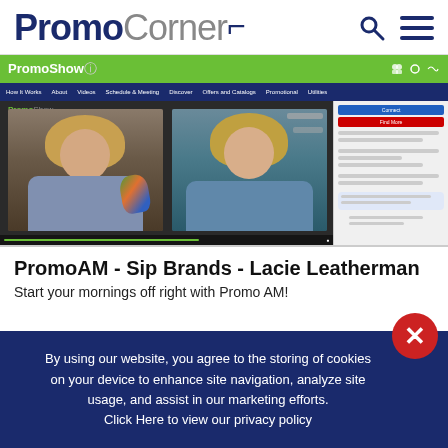PromoCorner
[Figure (screenshot): Screenshot of PromoShow website with two video participants in a webinar or show format. Left participant is a woman with blonde hair holding a colorful cup/bottle. Right participant is a woman with long blonde hair smiling. Sidebar shows chat/navigation interface.]
PromoAM - Sip Brands - Lacie Leatherman
Start your mornings off right with Promo AM!
By using our website, you agree to the storing of cookies on your device to enhance site navigation, analyze site usage, and assist in our marketing efforts. Click Here to view our privacy policy